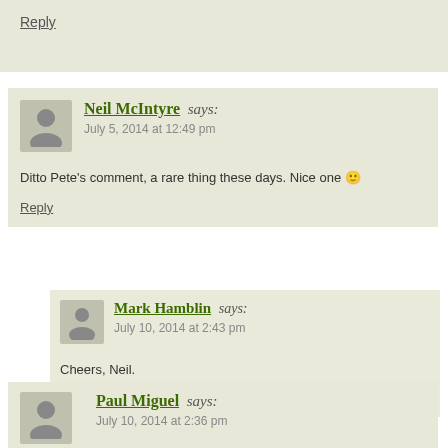Reply
Neil McIntyre says:
July 5, 2014 at 12:49 pm

Ditto Pete's comment, a rare thing these days. Nice one 🙂

Reply
Mark Hamblin says:
July 10, 2014 at 2:43 pm

Cheers, Neil.

Reply
Paul Miguel says:
July 10, 2014 at 2:36 pm

Wow. What can I say, already the creative juices are flowing w...